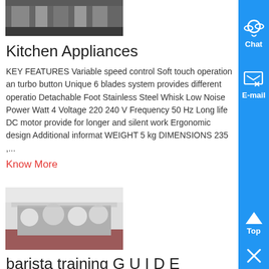[Figure (photo): Top image of kitchen/industrial setting, partially visible at top]
Kitchen Appliances
KEY FEATURES Variable speed control Soft touch operation and turbo button Unique 6 blades system provides different operation Detachable Foot Stainless Steel Whisk Low Noise Power Watt 4 Voltage 220 240 V Frequency 50 Hz Long life DC motor provides for longer and silent work Ergonomic design Additional information WEIGHT 5 kg DIMENSIONS 235 ,...
Know More
[Figure (photo): People seated at tables in what appears to be a training or dining hall setting]
barista training G U I D E